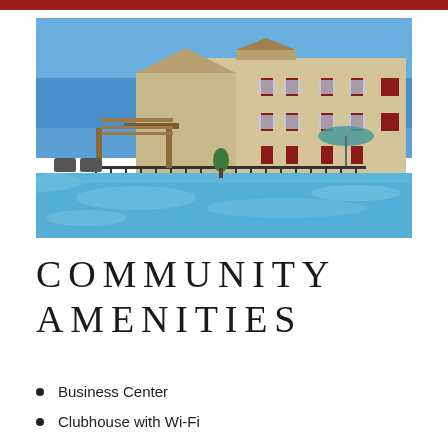[Figure (photo): Outdoor swimming pool area of an apartment community with a large clear blue pool in the foreground, pergola structure, outdoor seating, and a multi-story beige stucco building with red shutters in the background under a blue sky.]
COMMUNITY AMENITIES
Business Center
Clubhouse with Wi-Fi